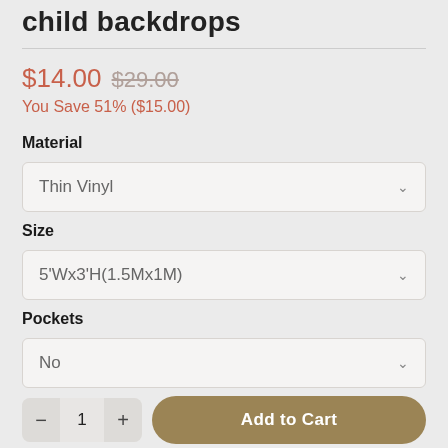child backdrops
$14.00 $29.00
You Save 51% ($15.00)
Material
Thin Vinyl
Size
5'Wx3'H(1.5Mx1M)
Pockets
No
Qty
1
Add to Cart